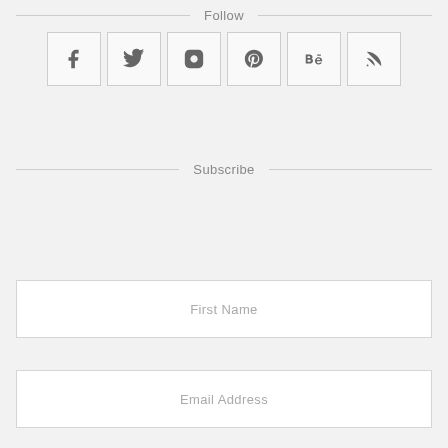Follow
[Figure (infographic): Row of six social media icon boxes: Facebook, Twitter, Instagram, Pinterest, Behance, RSS feed]
Subscribe
First Name
Email Address